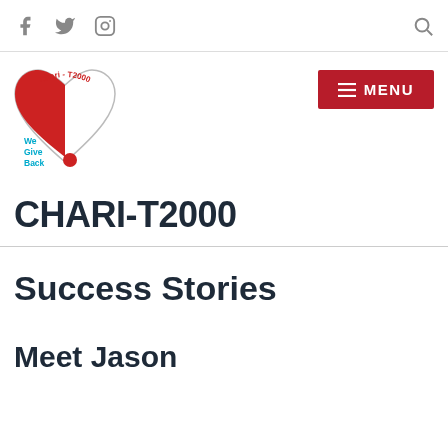Social media icons (Facebook, Twitter, Instagram) and Search icon
[Figure (logo): Chari-T2000 logo: heart shape with red swoosh, text 'Chari - T2000' in red arc and 'We Give Back' in teal with red dot]
[Figure (other): Menu button: red rectangle with hamburger icon and text MENU]
CHARI-T2000
Success Stories
Meet Jason